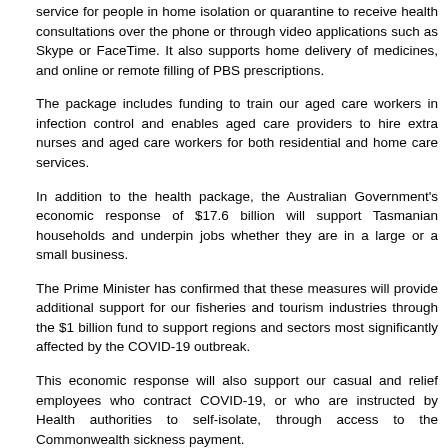service for people in home isolation or quarantine to receive health consultations over the phone or through video applications such as Skype or FaceTime. It also supports home delivery of medicines, and online or remote filling of PBS prescriptions.
The package includes funding to train our aged care workers in infection control and enables aged care providers to hire extra nurses and aged care workers for both residential and home care services.
In addition to the health package, the Australian Government's economic response of $17.6 billion will support Tasmanian households and underpin jobs whether they are in a large or a small business.
The Prime Minister has confirmed that these measures will provide additional support for our fisheries and tourism industries through the $1 billion fund to support regions and sectors most significantly affected by the COVID-19 outbreak.
This economic response will also support our casual and relief employees who contract COVID-19, or who are instructed by Health authorities to self-isolate, through access to the Commonwealth sickness payment.